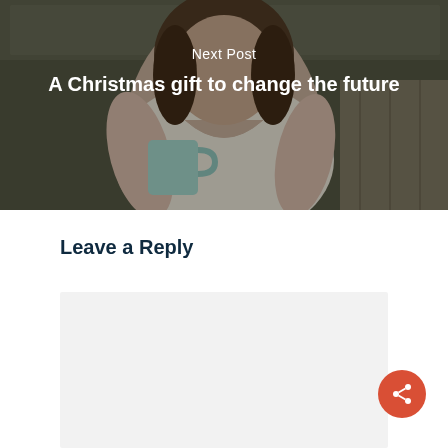[Figure (photo): Woman in white v-neck top holding a light teal/mint mug, photographed in a kitchen setting. Used as background image for a blog 'Next Post' navigation section.]
Next Post
A Christmas gift to change the future
Leave a Reply